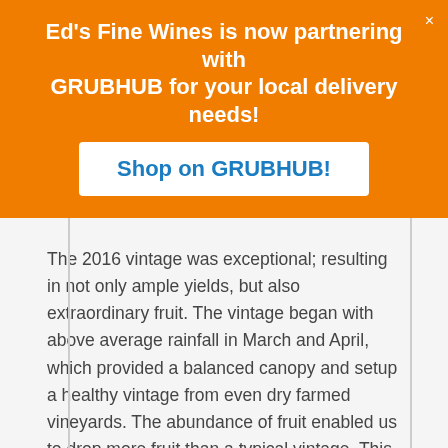Ed's Fine Wines is now partnering with GRUBHUB for your local delivery needs! Shop on GRUBHUB!
The 2016 vintage was exceptional; resulting in not only ample yields, but also extraordinary fruit. The vintage began with above average rainfall in March and April, which provided a balanced canopy and setup a healthy vintage from even dry farmed vineyards. The abundance of fruit enabled us to drop more fruit than a typical vintage. This practice allowed for uniform ripening and balance across the vineyards. With a couple of daytime heat spikes in July and June, the Zinfandel harvest began the third week of